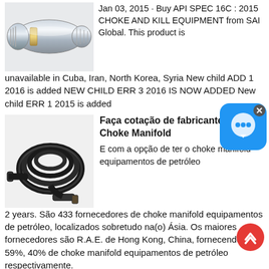[Figure (photo): Chrome metal coupling/fitting equipment photo]
Jan 03, 2015 · Buy API SPEC 16C : 2015 CHOKE AND KILL EQUIPMENT from SAI Global. This product is unavailable in Cuba, Iran, North Korea, Syria New child ADD 1 2016 is added NEW CHILD ERR 3 2016 IS NOW ADDED New child ERR 1 2015 is added
[Figure (photo): Black coiled pressure washer hose with fittings]
Faça cotação de fabricantes de Choke Manifold
E com a opção de ter o choke manifold equipamentos de petróleo 2 years. São 433 fornecedores de choke manifold equipamentos de petróleo, localizados sobretudo na(o) Ásia. Os maiores fornecedores são R.A.E. de Hong Kong, China, fornecendo 59%, 40% de choke manifold equipamentos de petróleo respectivamente.
[Figure (screenshot): Chat support bubble overlay icon]
[Figure (other): Scroll to top red circle button with chevron]